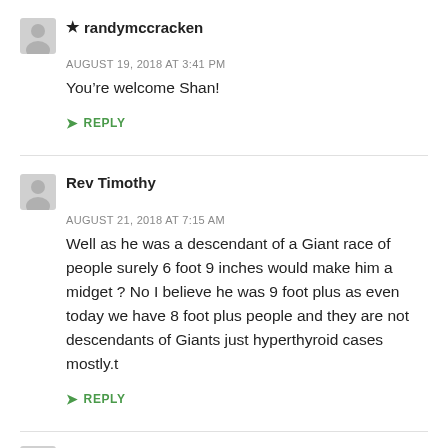★ randymccracken
AUGUST 19, 2018 AT 3:41 PM
You're welcome Shan!
↳ REPLY
Rev Timothy
AUGUST 21, 2018 AT 7:15 AM
Well as he was a descendant of a Giant race of people surely 6 foot 9 inches would make him a midget ? No I believe he was 9 foot plus as even today we have 8 foot plus people and they are not descendants of Giants just hyperthyroid cases mostly.t
↳ REPLY
★ randymccracken